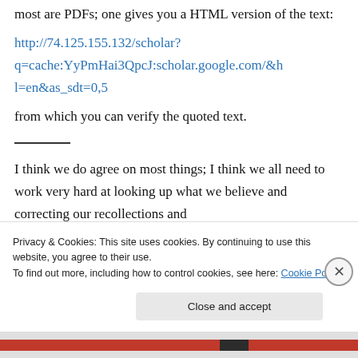most are PDFs; one gives you a HTML version of the text:
http://74.125.155.132/scholar?q=cache:YyPmHai3QpcJ:scholar.google.com/&hl=en&as_sdt=0,5
from which you can verify the quoted text.
I think we do agree on most things; I think we all need to work very hard at looking up what we believe and correcting our recollections and
Privacy & Cookies: This site uses cookies. By continuing to use this website, you agree to their use.
To find out more, including how to control cookies, see here: Cookie Policy